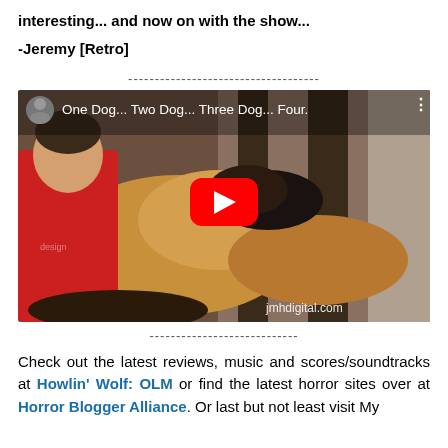interesting... and now on with the show...
-Jeremy [Retro]
------------------------------------
[Figure (screenshot): YouTube video thumbnail showing dogs on a carpet with a person in a red sweater. Video title: 'One Dog... Two Dog... Three Dog... Four.' with YouTube play button overlay and 'jmhdigital.com' watermark.]
----------------------------
Check out the latest reviews, music and scores/soundtracks at Howlin' Wolf: OLM or find the latest horror sites over at Horror Blogger Alliance. Or last but not least visit My